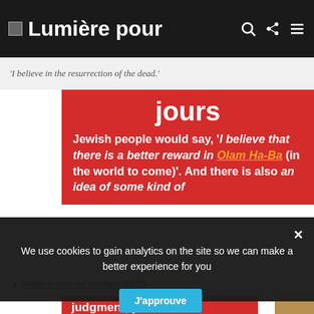Lumière pour
'I believe in the resurrection of the dead.'
[Figure (screenshot): Red banner with white bold text: 'jours' and 'Jewish people would say, ‘I believe that there is a better reward in Olam Ha-Ba (in the world to come)’. And there is also an idea of some kind of']
We use cookies to gain analytics on the site so we can make a better experience for you
Préférences de confidentialité
J'approuve
Generally s that, on the day of judgment, your